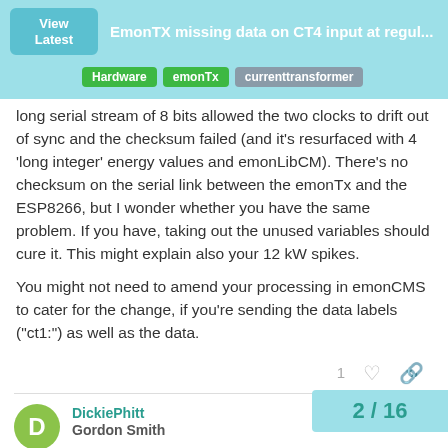EmonTX missing data on CT4 input at regul... | Hardware | emonTx | currenttransformer
long serial stream of 8 bits allowed the two clocks to drift out of sync and the checksum failed (and it's resurfaced with 4 'long integer' energy values and emonLibCM). There's no checksum on the serial link between the emonTx and the ESP8266, but I wonder whether you have the same problem. If you have, taking out the unused variables should cure it. This might explain also your 12 kW spikes.
You might not need to amend your processing in emonCMS to cater for the change, if you're sending the data labels ("ct1:") as well as the data.
DickiePhitt
Gordon Smith
Apr '19
Thanks Robert,
I'll look at doing that. Will need to dust dow